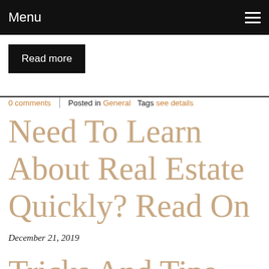Menu
Read more
0 comments  |  Posted in General  Tags see details
Need To Learn About Real Estate Quickly? Read On
December 21, 2019
Tricks And Tips F…